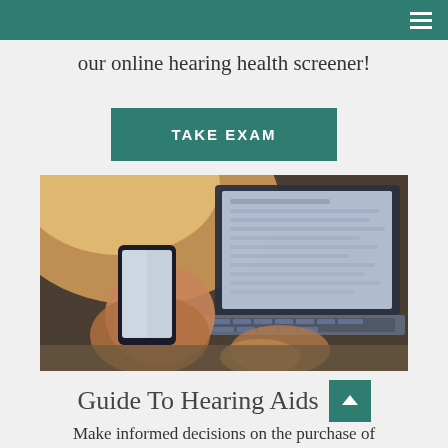our online hearing health screener!
TAKE EXAM
[Figure (photo): Person holding a smartphone in one hand while working on a laptop keyboard, with warm backlit lighting suggesting an online research or health screening activity.]
Guide To Hearing Aids
Make informed decisions on the purchase of your next hearing aid device!